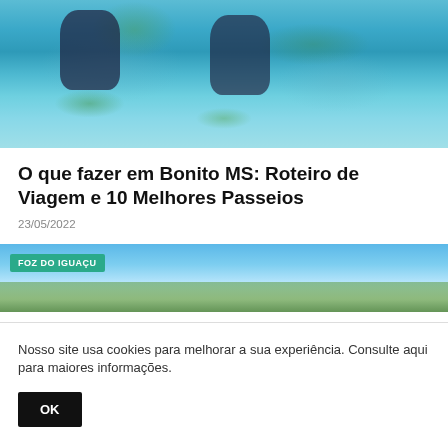[Figure (photo): Underwater photo of two scuba divers swimming above aquatic plants in clear blue-green water with fish visible]
O que fazer em Bonito MS: Roteiro de Viagem e 10 Melhores Passeios
23/05/2022
[Figure (photo): Landscape photo with blue sky and clouds, with a teal badge reading 'FOZ DO IGUAÇU']
Nosso site usa cookies para melhorar a sua experiência. Consulte aqui para maiores informações.
OK